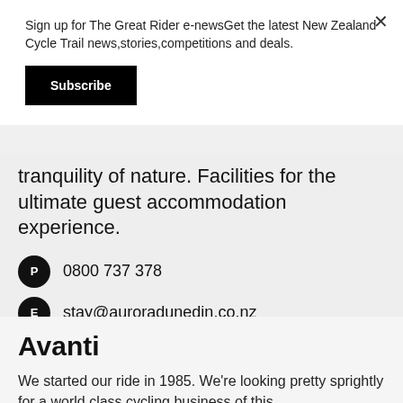Sign up for The Great Rider e-newsGet the latest New Zealand Cycle Trail news,stories,competitions and deals.
Subscribe
tranquility of nature. Facilities for the ultimate guest accommodation experience.
0800 737 378
stay@auroradunedin.co.nz
Visit Website >
Avanti
We started our ride in 1985. We're looking pretty sprightly for a world class cycling business of this